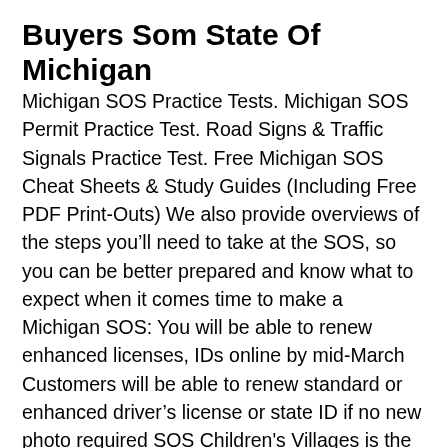Buyers Som State Of Michigan
Michigan SOS Practice Tests. Michigan SOS Permit Practice Test. Road Signs & Traffic Signals Practice Test. Free Michigan SOS Cheat Sheets & Study Guides (Including Free PDF Print-Outs) We also provide overviews of the steps you'll need to take at the SOS, so you can be better prepared and know what to expect when it comes time to make a Michigan SOS: You will be able to renew enhanced licenses, IDs online by mid-March Customers will be able to renew standard or enhanced driver's license or state ID if no new photo required SOS Children's Villages is the world's largest non-governmental organisation focused on supporting children without parental care and families at risk. Since 1949, we have been working to ensure that